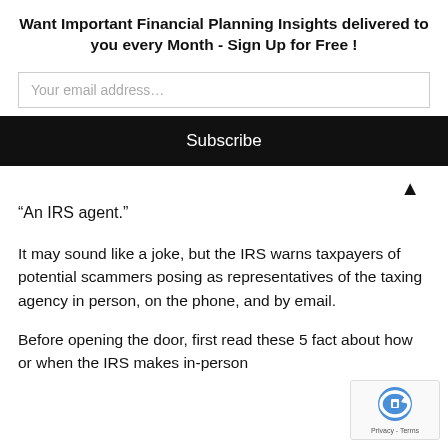Want Important Financial Planning Insights delivered to you every Month - Sign Up for Free !
Your email address…
Subscribe
▲
“An IRS agent.”
It may sound like a joke, but the IRS warns taxpayers of potential scammers posing as representatives of the taxing agency in person, on the phone, and by email.
Before opening the door, first read these 5 facts about how or when the IRS makes in-person
[Figure (logo): reCAPTCHA badge with Privacy - Terms text]